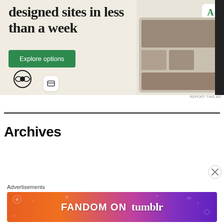[Figure (screenshot): WordPress advertisement showing 'designed sites in less than a week' with 'Explore options' green button and website mockup on beige background with WordPress logo]
REPORT THIS AD
Archives
Advertisements
[Figure (illustration): Fandom on Tumblr colorful advertisement banner with gradient orange to purple background with decorative doodles]